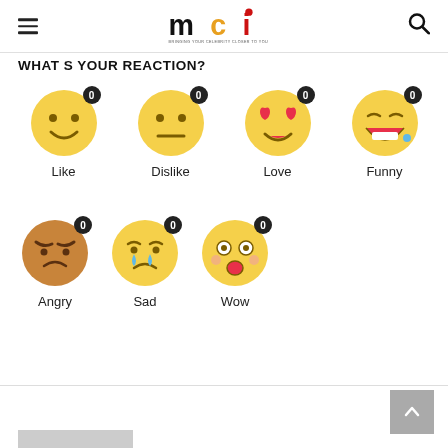MCI - Bringing your celebrity closer to you
WHAT S YOUR REACTION?
[Figure (infographic): Seven reaction emoji buttons arranged in two rows. Row 1: Like (smiley face, count 0), Dislike (neutral face, count 0), Love (heart eyes face, count 0), Funny (laughing face, count 0). Row 2: Angry (angry face, count 0), Sad (crying face, count 0), Wow (surprised face, count 0). Each emoji has a dark badge showing the count 0.]